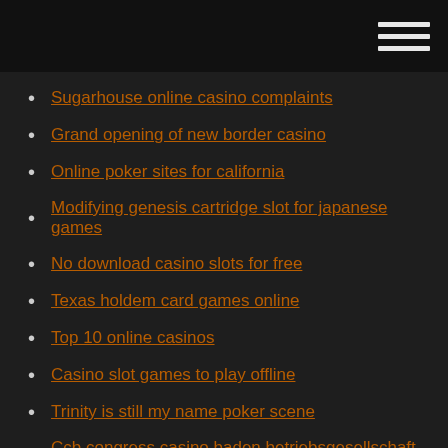Sugarhouse online casino complaints
Grand opening of new border casino
Online poker sites for california
Modifying genesis cartridge slot for japanese games
No download casino slots for free
Texas holdem card games online
Top 10 online casinos
Casino slot games to play offline
Trinity is still my name poker scene
Ccb congress casino baden betriebsgesellschaft mbh
Best online casino usa real money 2019
Sac a roulette violetta pas cher
Le flop la passion du poker
Koffer naar amerika niet op slot